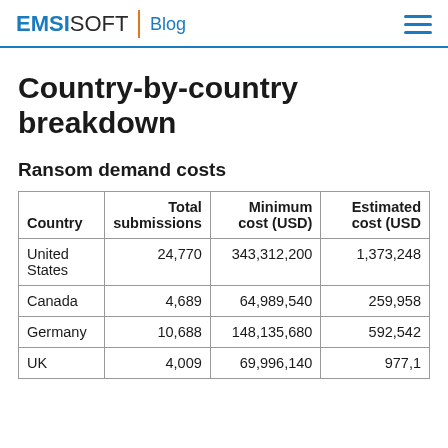EMSISOFT Blog
Country-by-country breakdown
Ransom demand costs
| Country | Total submissions | Minimum cost (USD) | Estimated cost (USD) |
| --- | --- | --- | --- |
| United States | 24,770 | 343,312,200 | 1,373,248… |
| Canada | 4,689 | 64,989,540 | 259,958… |
| Germany | 10,688 | 148,135,680 | 592,542… |
| UK | 4,009 | 69,996,140 | 877,1… |